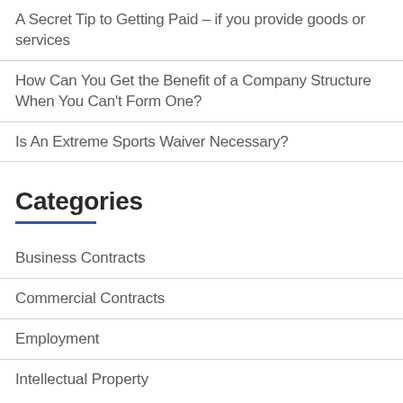A Secret Tip to Getting Paid – if you provide goods or services
How Can You Get the Benefit of a Company Structure When You Can't Form One?
Is An Extreme Sports Waiver Necessary?
Categories
Business Contracts
Commercial Contracts
Employment
Intellectual Property